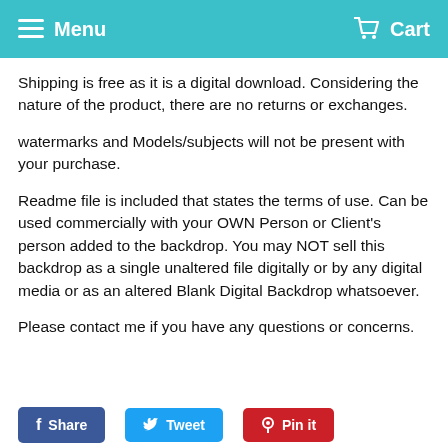Menu  Cart
Shipping is free as it is a digital download. Considering the nature of the product, there are no returns or exchanges.
watermarks and Models/subjects will not be present with your purchase.
Readme file is included that states the terms of use. Can be used commercially with your OWN Person or Client's person added to the backdrop. You may NOT sell this backdrop as a single unaltered file digitally or by any digital media or as an altered Blank Digital Backdrop whatsoever.
Please contact me if you have any questions or concerns.
Share  Tweet  Pin it